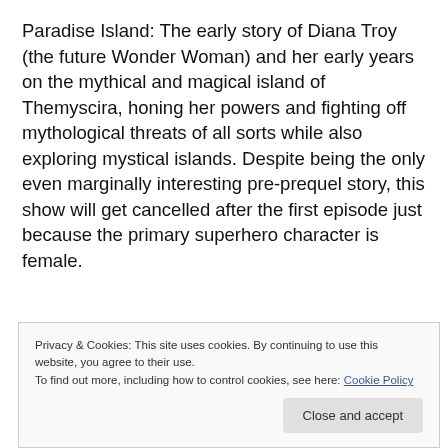Paradise Island: The early story of Diana Troy (the future Wonder Woman) and her early years on the mythical and magical island of Themyscira, honing her powers and fighting off mythological threats of all sorts while also exploring mystical islands. Despite being the only even marginally interesting pre-prequel story, this show will get cancelled after the first episode just because the primary superhero character is female.
Privacy & Cookies: This site uses cookies. By continuing to use this website, you agree to their use. To find out more, including how to control cookies, see here: Cookie Policy